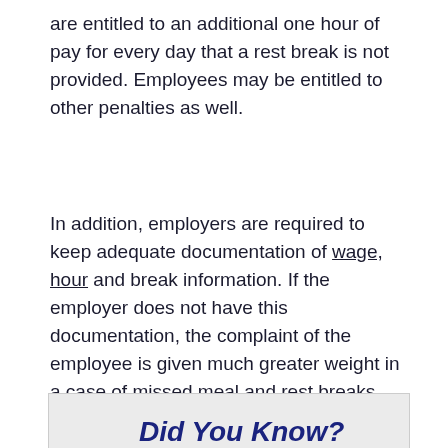are entitled to an additional one hour of pay for every day that a rest break is not provided. Employees may be entitled to other penalties as well.
In addition, employers are required to keep adequate documentation of wage, hour and break information. If the employer does not have this documentation, the complaint of the employee is given much greater weight in a case of missed meal and rest breaks.
Did You Know?
Employees in sales, restaurant, hospitality and hotel industries, retail, computer-related fields